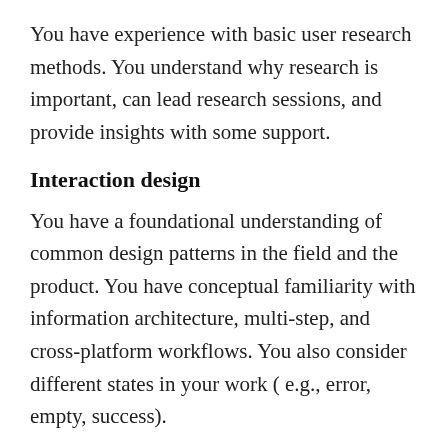You have experience with basic user research methods. You understand why research is important, can lead research sessions, and provide insights with some support.
Interaction design
You have a foundational understanding of common design patterns in the field and the product. You have conceptual familiarity with information architecture, multi-step, and cross-platform workflows. You also consider different states in your work ( e.g., error, empty, success).
Visual design
You're able to use existing design systems and